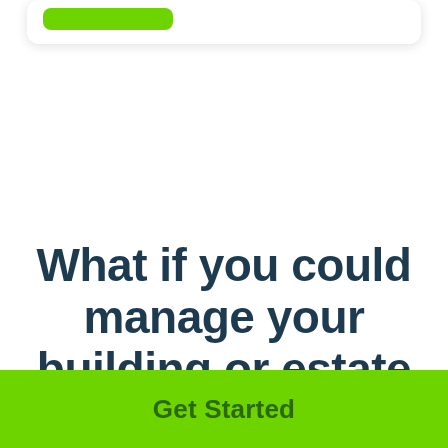[Figure (screenshot): A white card UI element with a green button at the top left, partially cropped]
What if you could manage your building or estate as a service?...
Get Started